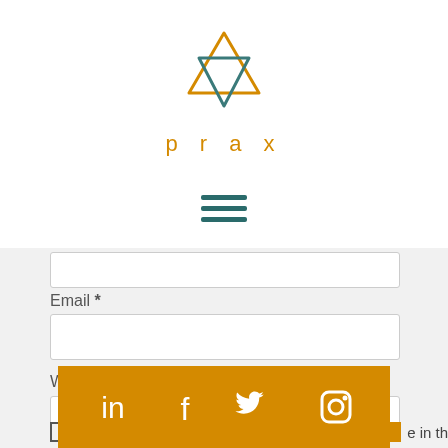[Figure (logo): Prax logo: overlapping orange upward triangle and teal downward triangle, with the word 'prax' in orange lowercase letters below]
[Figure (infographic): Hamburger menu icon: three teal horizontal lines]
Email *
Website
Save my na... e in this
[Figure (infographic): Orange social media bar with LinkedIn, Facebook, Twitter, and Instagram icons in white]